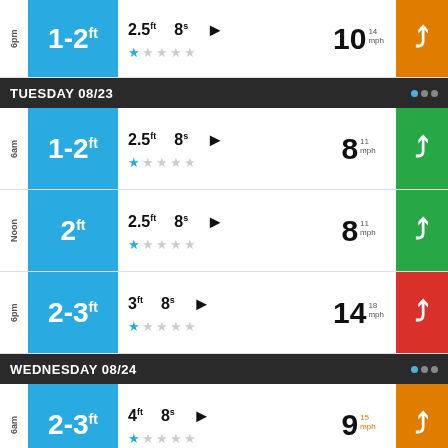| Time | Wave Size | Height | Period | Direction | Stars | Wind | Action |
| --- | --- | --- | --- | --- | --- | --- | --- |
| 6pm | 1-2ft | 2.5ft | 8s | ► | 1/5 | 10 14mph | ↗ |
| TUESDAY 08/23 |  |  |  |  |  |  | ··· |
| 6am | 1-2ft | 2.5ft | 8s | ► | 1/5 | 8 11mph | ↗ |
| Noon | 2ft | 2.5ft | 8s | ► | 1/5 | 8 11mph | ↗ |
| 6pm | 2-3ft | 3ft | 8s | ► | 1/5 | 14 18mph | ↗ |
| WEDNESDAY 08/24 |  |  |  |  |  |  | ··· |
| 6am | 2-3ft | 4ft | 8s | ► | 1/5 | 9 15mph | ↗ |
| Noon | 2-3ft | 4ft | 8s | ► | 1/5 | 10 12mph | ↘ |
| 6pm | 2-3ft | 3.5ft | 8s | ► | 1/5 | 12 12mph | ↓ |
NEVER MISS A SESSION AGAIN WITH